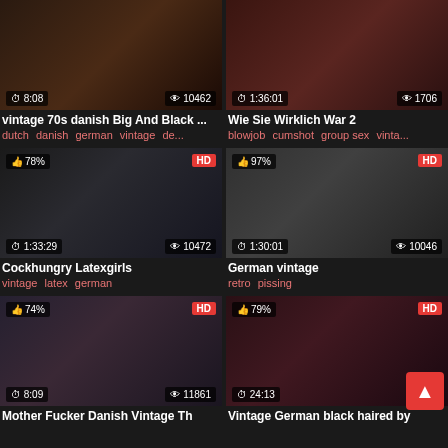[Figure (screenshot): Video thumbnail 1: vintage 70s danish Big And Black, duration 8:08, views 10462]
vintage 70s danish Big And Black ...
dutch danish german vintage de...
[Figure (screenshot): Video thumbnail 2: Wie Sie Wirklich War 2, duration 1:36:01, views 1706]
Wie Sie Wirklich War 2
blowjob cumshot group sex vinta...
[Figure (screenshot): Video thumbnail 3: Cockhungry Latexgirls, 78% like, HD, duration 1:33:29, views 10472]
Cockhungry Latexgirls
vintage latex german
[Figure (screenshot): Video thumbnail 4: German vintage, 97% like, HD, duration 1:30:01, views 10046]
German vintage
retro pissing
[Figure (screenshot): Video thumbnail 5: Mother Fucker Danish Vintage Th, 74% like, HD, duration 8:09, views 11861]
Mother Fucker Danish Vintage Th
[Figure (screenshot): Video thumbnail 6: Vintage German black haired by, 79% like, HD, duration 24:13]
Vintage German black haired by